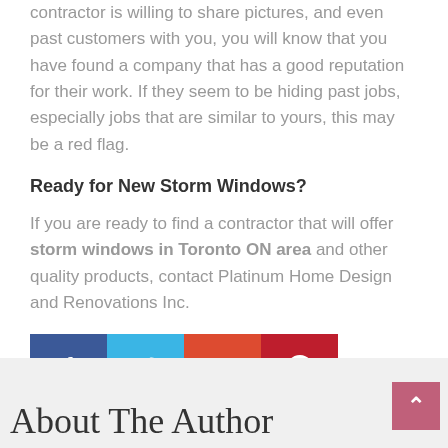contractor is willing to share pictures, and even past customers with you, you will know that you have found a company that has a good reputation for their work. If they seem to be hiding past jobs, especially jobs that are similar to yours, this may be a red flag.
Ready for New Storm Windows?
If you are ready to find a contractor that will offer storm windows in Toronto ON area and other quality products, contact Platinum Home Design and Renovations Inc.
[Figure (infographic): Social media sharing buttons: Facebook (blue), Twitter (light blue), Google+ (orange-red), Pinterest (dark red)]
About The Author